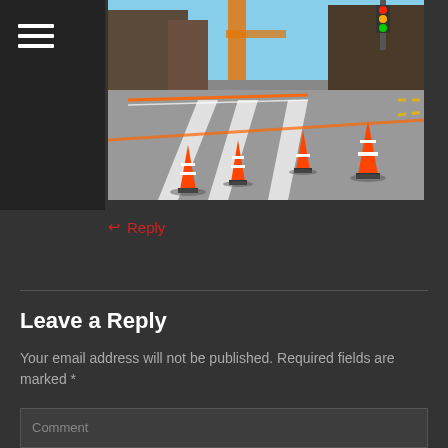[Figure (photo): Street scene with orange traffic cones and caution tape on a city sidewalk/road under construction, with buildings and traffic light in background, sunny day]
↩ Reply
Leave a Reply
Your email address will not be published. Required fields are marked *
Comment